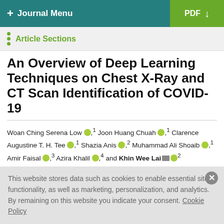+ Journal Menu | PDF ↓
Article Sections
An Overview of Deep Learning Techniques on Chest X-Ray and CT Scan Identification of COVID-19
Woan Ching Serena Low, 1 Joon Huang Chuah, 1 Clarence Augustine T. H. Tee, 1 Shazia Anis, 2 Muhammad Ali Shoaib, 1 Amir Faisal, 3 Azira Khalil, 4 and Khin Wee Lai 2
Show more
This website stores data such as cookies to enable essential site functionality, as well as marketing, personalization, and analytics. By remaining on this website you indicate your consent. Cookie Policy